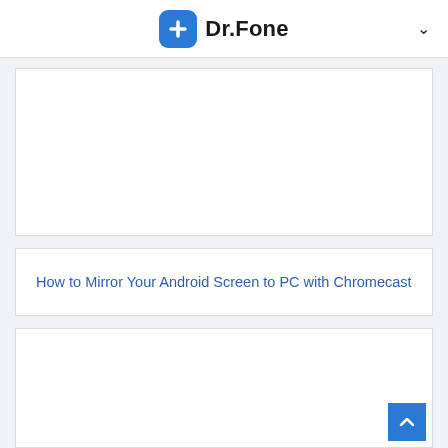Dr.Fone
[Figure (other): Empty white card area (top card, content not visible)]
How to Mirror Your Android Screen to PC with Chromecast
[Figure (other): Empty white card area (bottom card, content not visible)]